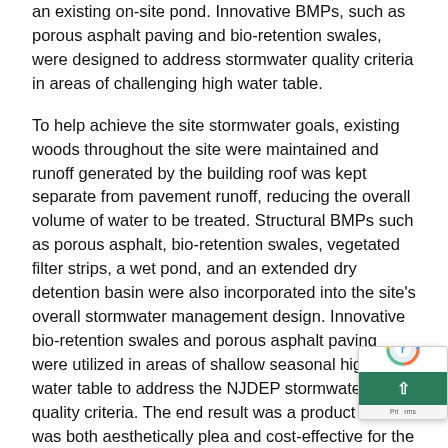an existing on-site pond. Innovative BMPs, such as porous asphalt paving and bio-retention swales, were designed to address stormwater quality criteria in areas of challenging high water table.
To help achieve the site stormwater goals, existing woods throughout the site were maintained and runoff generated by the building roof was kept separate from pavement runoff, reducing the overall volume of water to be treated. Structural BMPs such as porous asphalt, bio-retention swales, vegetated filter strips, a wet pond, and an extended dry detention basin were also incorporated into the site's overall stormwater management design. Innovative bio-retention swales and porous asphalt paving were utilized in areas of shallow seasonal high water table to address the NJDEP stormwater quality criteria. The end result was a product that was both aesthetically plea­ and cost-effective for the developer. TWT performe­ site surveying and soil infiltration testing.